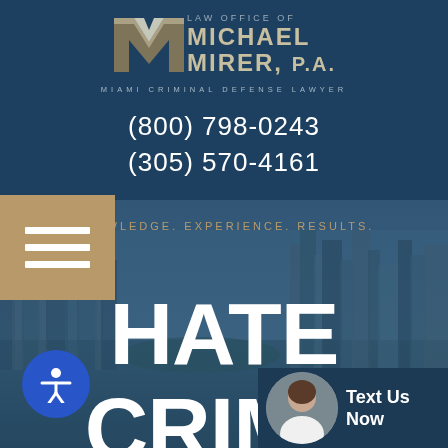[Figure (logo): Law Office of Michael Mirer, P.A. logo with MM monogram and text 'Miami Criminal Defense Lawyer']
(800) 798-0243
(305) 570-4161
[Figure (illustration): Hamburger menu button with gold/tan background and three white horizontal lines]
[Figure (photo): Aerial view of Miami city skyline and waterways as background]
KNOWLEDGE. EXPERIENCE. RESULTS.
HATE CRIME
[Figure (photo): Attorney headshot - woman in white jacket, circular crop]
Text Us Now